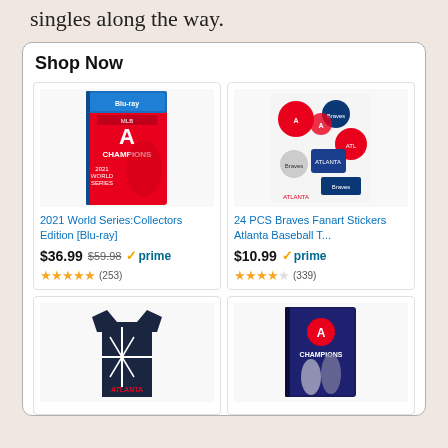singles along the way.
Shop Now
[Figure (photo): 2021 World Series Collectors Edition Blu-ray product image]
2021 World Series:Collectors Edition [Blu-ray]
$36.99 $59.98 ✓prime ★★★★★ (253)
[Figure (photo): 24 PCS Braves Fanart Stickers Atlanta Baseball product image]
24 PCS Braves Fanart Stickers Atlanta Baseball T...
$10.99 ✓prime ★★★★☆ (339)
[Figure (photo): Navy Atlanta Braves t-shirt with American flag design and ATLANTA text]
[Figure (photo): Atlanta Braves Champions DVD/Blu-ray product image]